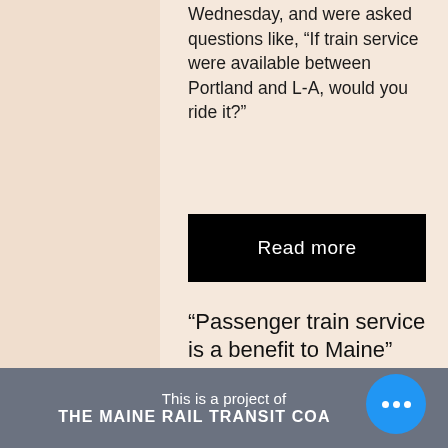Wednesday, and were asked questions like, “If train service were available between Portland and L-A, would you ride it?”
Read more
“Passenger train service is a benefit to Maine”
Letter in support of passenger rail expansion
Read More
This is a project of THE MAINE RAIL TRANSIT COALITION